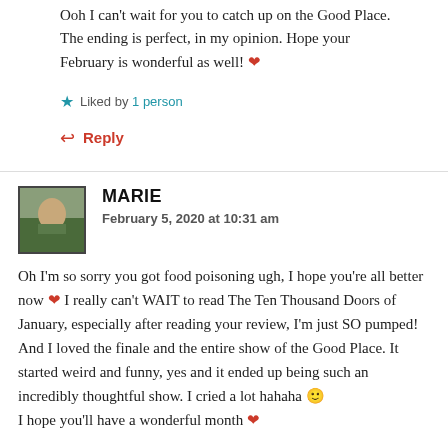Ooh I can't wait for you to catch up on the Good Place. The ending is perfect, in my opinion. Hope your February is wonderful as well! ❤
★ Liked by 1 person
↩ Reply
MARIE
February 5, 2020 at 10:31 am
Oh I'm so sorry you got food poisoning ugh, I hope you're all better now ❤ I really can't WAIT to read The Ten Thousand Doors of January, especially after reading your review, I'm just SO pumped! And I loved the finale and the entire show of the Good Place. It started weird and funny, yes and it ended up being such an incredibly thoughtful show. I cried a lot hahaha 🙂 I hope you'll have a wonderful month ❤